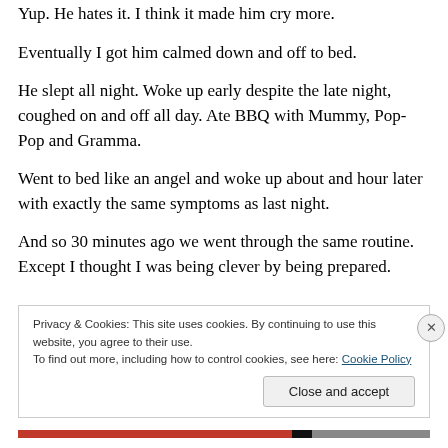Yup. He hates it. I think it made him cry more.
Eventually I got him calmed down and off to bed.
He slept all night. Woke up early despite the late night, coughed on and off all day. Ate BBQ with Mummy, Pop-Pop and Gramma.
Went to bed like an angel and woke up about and hour later with exactly the same symptoms as last night.
And so 30 minutes ago we went through the same routine. Except I thought I was being clever by being prepared.
Privacy & Cookies: This site uses cookies. By continuing to use this website, you agree to their use.
To find out more, including how to control cookies, see here: Cookie Policy
Close and accept